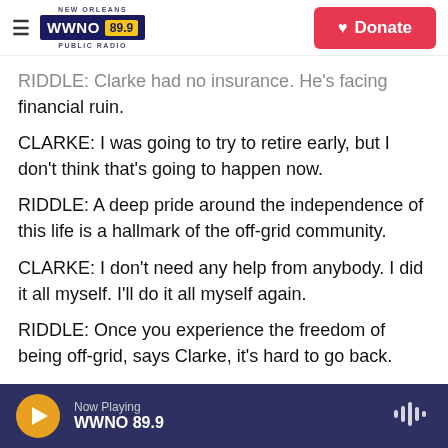NEW ORLEANS WWNO 89.9 PUBLIC RADIO — Donate
RIDDLE: Clarke had no insurance. He's facing financial ruin.
CLARKE: I was going to try to retire early, but I don't think that's going to happen now.
RIDDLE: A deep pride around the independence of this life is a hallmark of the off-grid community.
CLARKE: I don't need any help from anybody. I did it all myself. I'll do it all myself again.
RIDDLE: Once you experience the freedom of being off-grid, says Clarke, it's hard to go back.
Now Playing WWNO 89.9